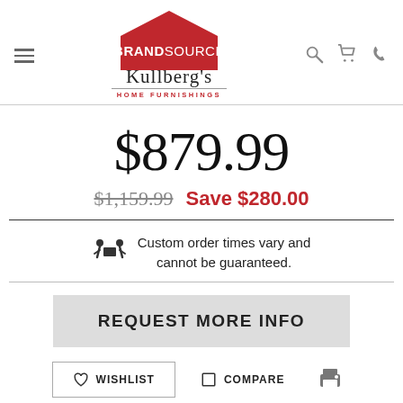[Figure (logo): BrandSource Kullberg's Home Furnishings logo — red house shape with BRANDSOURCE text, Kullberg's in cursive below, HOME FURNISHINGS in small red caps]
$879.99
$1,159.99  Save $280.00
Custom order times vary and cannot be guaranteed.
REQUEST MORE INFO
WISHLIST
COMPARE